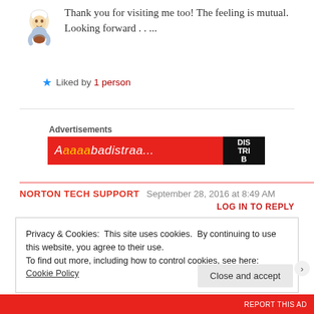Thank you for visiting me too! The feeling is mutual. Looking forward . . ...
Liked by 1 person
[Figure (illustration): Small cartoon illustration of a chef character with a pot]
Advertisements
[Figure (other): Red advertisement banner with logo]
NORTON TECH SUPPORT   September 28, 2016 at 8:49 AM
LOG IN TO REPLY
Privacy & Cookies: This site uses cookies. By continuing to use this website, you agree to their use. To find out more, including how to control cookies, see here: Cookie Policy
Close and accept